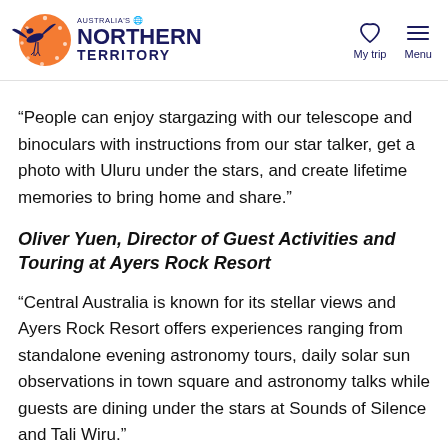Australia's Northern Territory — My trip / Menu header
“People can enjoy stargazing with our telescope and binoculars with instructions from our star talker, get a photo with Uluru under the stars, and create lifetime memories to bring home and share.”
Oliver Yuen, Director of Guest Activities and Touring at Ayers Rock Resort
“Central Australia is known for its stellar views and Ayers Rock Resort offers experiences ranging from standalone evening astronomy tours, daily solar sun observations in town square and astronomy talks while guests are dining under the stars at Sounds of Silence and Tali Wiru.”